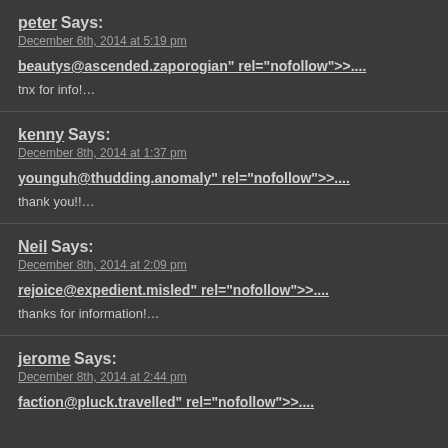peter Says: December 6th, 2014 at 5:19 pm
beautys@ascended.zaporogian" rel="nofollow">....
tnx for info!…
kenny Says: December 8th, 2014 at 1:37 pm
younguh@thudding.anomaly" rel="nofollow">....
thank you!!…
Neil Says: December 8th, 2014 at 2:09 pm
rejoice@expedient.misled" rel="nofollow">....
thanks for information!…
jerome Says: December 8th, 2014 at 2:44 pm
faction@pluck.travelled" rel="nofollow">....